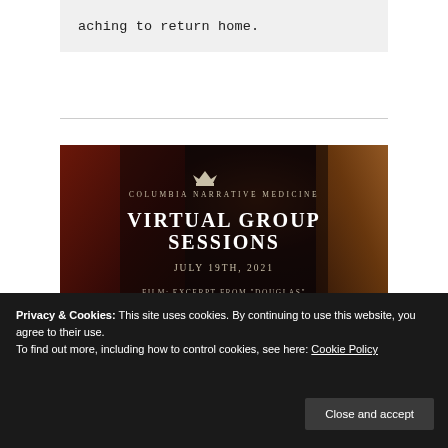aching to return home.
[Figure (illustration): Columbia Narrative Medicine Virtual Group Sessions promotional image. Dark theater background with audience seating. Text overlay: Columbia Narrative Medicine logo with crown, 'Virtual Group Sessions', 'July 19th, 2021', 'Film: Excerpt from "Douglas" by Hannah Gadsby']
Privacy & Cookies: This site uses cookies. By continuing to use this website, you agree to their use. To find out more, including how to control cookies, see here: Cookie Policy
Close and accept